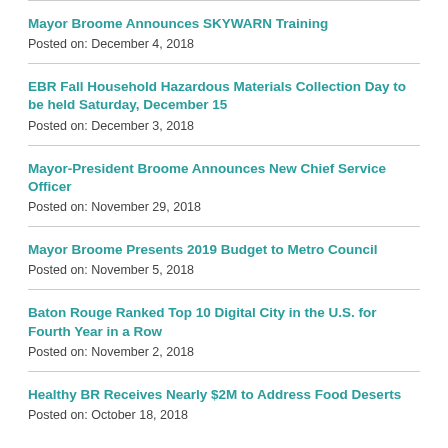Mayor Broome Announces SKYWARN Training
Posted on: December 4, 2018
EBR Fall Household Hazardous Materials Collection Day to be held Saturday, December 15
Posted on: December 3, 2018
Mayor-President Broome Announces New Chief Service Officer
Posted on: November 29, 2018
Mayor Broome Presents 2019 Budget to Metro Council
Posted on: November 5, 2018
Baton Rouge Ranked Top 10 Digital City in the U.S. for Fourth Year in a Row
Posted on: November 2, 2018
Healthy BR Receives Nearly $2M to Address Food Deserts
Posted on: October 18, 2018